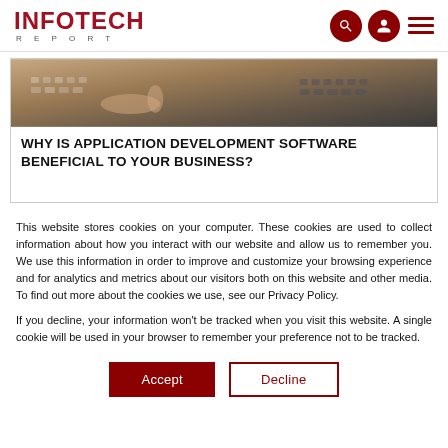INFOTECH REPORT
[Figure (photo): Hands typing on keyboards, tech/office setting]
WHY IS APPLICATION DEVELOPMENT SOFTWARE BENEFICIAL TO YOUR BUSINESS?
This website stores cookies on your computer. These cookies are used to collect information about how you interact with our website and allow us to remember you. We use this information in order to improve and customize your browsing experience and for analytics and metrics about our visitors both on this website and other media. To find out more about the cookies we use, see our Privacy Policy.
If you decline, your information won't be tracked when you visit this website. A single cookie will be used in your browser to remember your preference not to be tracked.